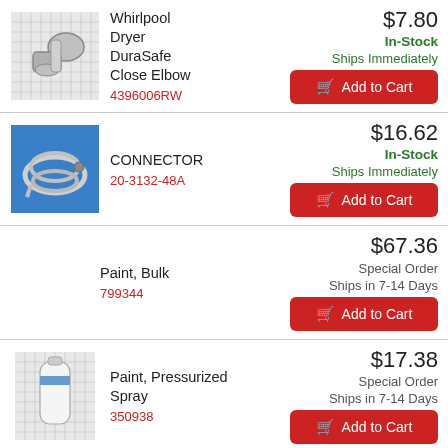[Figure (photo): Whirlpool Dryer DuraSafe Close Elbow metal part on grid background]
Whirlpool Dryer DuraSafe Close Elbow
4396006RW
$7.80
In-Stock
Ships Immediately
Add to Cart
[Figure (photo): Flexible metal connector hose on blue background]
CONNECTOR
20-3132-48A
$16.62
In-Stock
Ships Immediately
Add to Cart
Paint, Bulk
799344
$67.36
Special Order
Ships in 7-14 Days
Add to Cart
[Figure (photo): Paint pressurized spray can on grid background]
Paint, Pressurized Spray
350938
$17.38
Special Order
Ships in 7-14 Days
Add to Cart